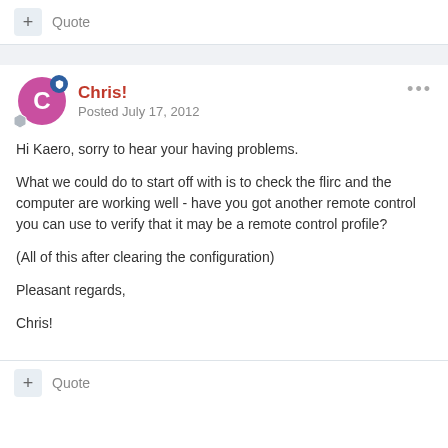+ Quote
Chris! Posted July 17, 2012
Hi Kaero, sorry to hear your having problems.

What we could do to start off with is to check the flirc and the computer are working well - have you got another remote control you can use to verify that it may be a remote control profile?

(All of this after clearing the configuration)

Pleasant regards,

Chris!
+ Quote